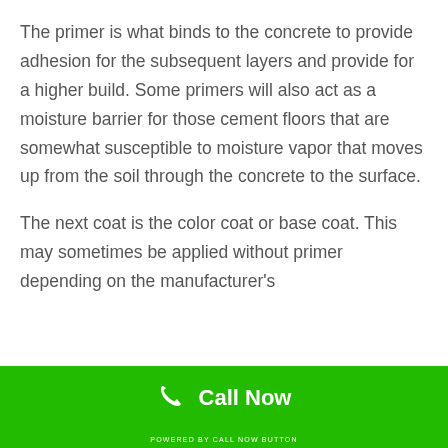The primer is what binds to the concrete to provide adhesion for the subsequent layers and provide for a higher build. Some primers will also act as a moisture barrier for those cement floors that are somewhat susceptible to moisture vapor that moves up from the soil through the concrete to the surface.
The next coat is the color coat or base coat. This may sometimes be applied without primer depending on the manufacturer's
Call Now
POWERED BY CALL NOW BUTTON